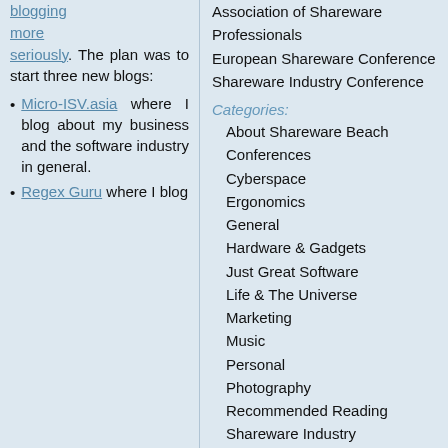blogging more seriously. The plan was to start three new blogs:
Micro-ISV.asia where I blog about my business and the software industry in general.
Regex Guru where I blog
Association of Shareware Professionals
European Shareware Conference
Shareware Industry Conference
Categories:
About Shareware Beach
Conferences
Cyberspace
Ergonomics
General
Hardware & Gadgets
Just Great Software
Life & The Universe
Marketing
Music
Personal
Photography
Recommended Reading
Shareware Industry
Software Development
Thailand
Search:
Archives:
April 2008
March 2008
February 2008